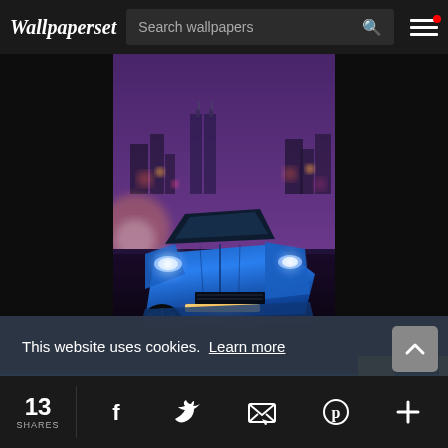Wallpaperset — Search wallpapers
[Figure (photo): Blue sports car (Pagani Huayra) photographed at night with city skyline background, viewed from the front-left angle. Purple/pink atmospheric haze, illuminated headlights and fog lights.]
This website uses cookies.  Learn more
13 SHARES — social share icons: Facebook, Twitter, Email, Pinterest, Plus